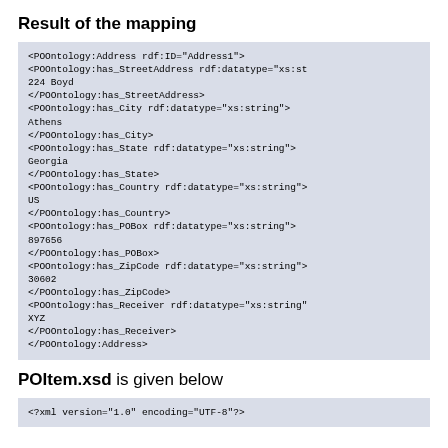Result of the mapping
<POOntology:Address rdf:ID="Address1">
<POOntology:has_StreetAddress rdf:datatype="xs:st
224 Boyd
</POOntology:has_StreetAddress>
<POOntology:has_City rdf:datatype="xs:string">
Athens
</POOntology:has_City>
<POOntology:has_State rdf:datatype="xs:string">
Georgia
</POOntology:has_State>
<POOntology:has_Country rdf:datatype="xs:string">
US
</POOntology:has_Country>
<POOntology:has_POBox rdf:datatype="xs:string">
897656
</POOntology:has_POBox>
<POOntology:has_ZipCode rdf:datatype="xs:string">
30602
</POOntology:has_ZipCode>
<POOntology:has_Receiver rdf:datatype="xs:string"
XYZ
</POOntology:has_Receiver>
</POOntology:Address>
POItem.xsd is given below
<?xml version="1.0" encoding="UTF-8"?>